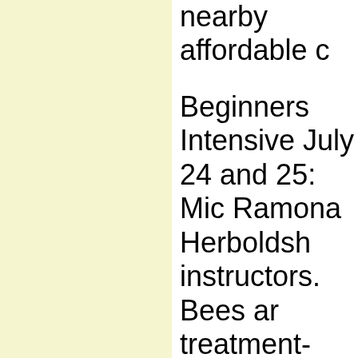nearby affordable c
Beginners Intensive July 24 and 25: Mic Ramona Herboldsh instructors. Bees ar treatment-free pers Bar and Warre style $140 (early bee pric after May 15).
Field Day July 26: T attendees of either or the main confere There will also be a